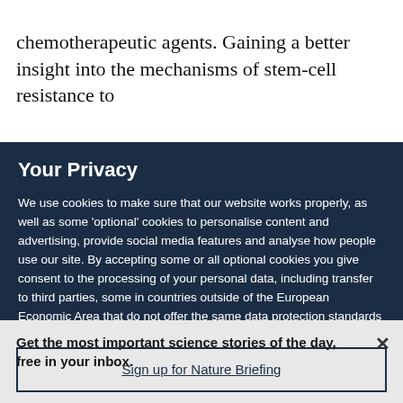chemotherapeutic agents. Gaining a better insight into the mechanisms of stem-cell resistance to chemotherapy might therefore lead to new
Your Privacy
We use cookies to make sure that our website works properly, as well as some ‘optional’ cookies to personalise content and advertising, provide social media features and analyse how people use our site. By accepting some or all optional cookies you give consent to the processing of your personal data, including transfer to third parties, some in countries outside of the European Economic Area that do not offer the same data protection standards as the country where you live. You can decide which optional cookies to accept by clicking on ‘Manage Settings’, where you can
Get the most important science stories of the day, free in your inbox.
Sign up for Nature Briefing